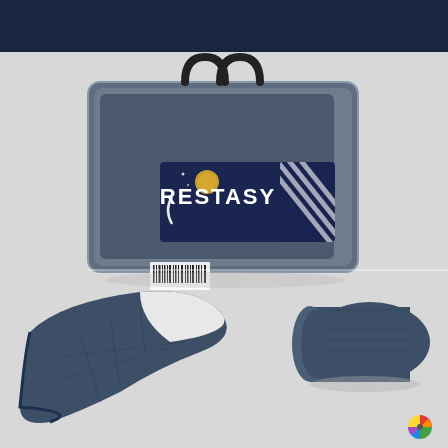[Figure (photo): Dark navy blue header bar at the top of the page]
[Figure (photo): Product photo of a Restasy branded weighted blanket shown both in its carry bag packaging and unrolled/folded, displayed against a light gray background. The blanket is dark navy blue on one side and white/cream on the other. A small colorful pinwheel/loading icon appears in the bottom right corner.]